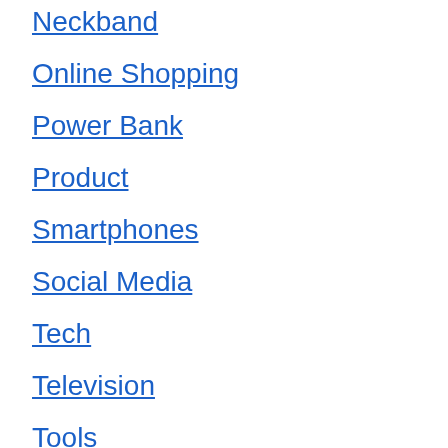Neckband
Online Shopping
Power Bank
Product
Smartphones
Social Media
Tech
Television
Tools
Recent Posts
Magic Rummy Apk Download & Get ₹510